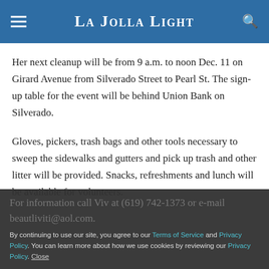La Jolla Light
Her next cleanup will be from 9 a.m. to noon Dec. 11 on Girard Avenue from Silverado Street to Pearl St. The sign-up table for the event will be behind Union Bank on Silverado.
Gloves, pickers, trash bags and other tools necessary to sweep the sidewalks and gutters and pick up trash and other litter will be provided. Snacks, refreshments and lunch will be available for volunteers.
By continuing to use our site, you agree to our Terms of Service and Privacy Policy. You can learn more about how we use cookies by reviewing our Privacy Policy. Close
For information call Viv at (619) 742-1373 or e-mail beautliviti@aol.com.